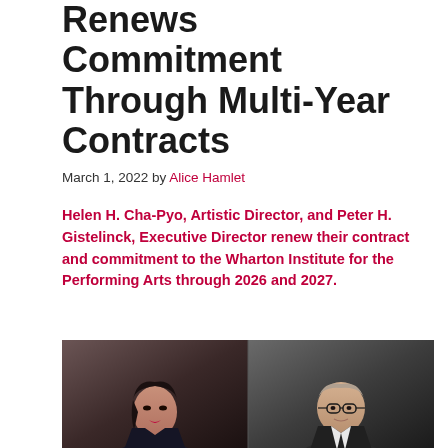Renews Commitment Through Multi-Year Contracts
March 1, 2022 by Alice Hamlet
Helen H. Cha-Pyo, Artistic Director, and Peter H. Gistelinck, Executive Director renew their contract and commitment to the Wharton Institute for the Performing Arts through 2026 and 2027.
[Figure (photo): Side-by-side professional headshots of Helen H. Cha-Pyo (left, Asian woman in dark blazer) and Peter H. Gistelinck (right, older man with glasses in suit)]